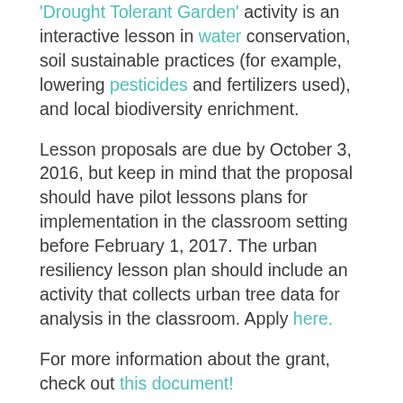'Drought Tolerant Garden' activity is an interactive lesson in water conservation, soil sustainable practices (for example, lowering pesticides and fertilizers used), and local biodiversity enrichment.
Lesson proposals are due by October 3, 2016, but keep in mind that the proposal should have pilot lessons plans for implementation in the classroom setting before February 1, 2017. The urban resiliency lesson plan should include an activity that collects urban tree data for analysis in the classroom. Apply here.
For more information about the grant, check out this document!
Need help tending your school's garden? You can empower your students for caring about the environment by assembling a Grades of Green Team to work on a variety of green activities.